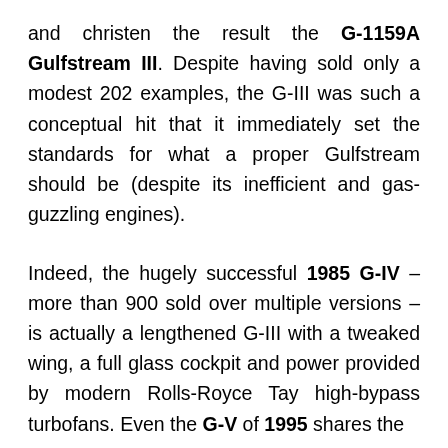and christen the result the G-1159A Gulfstream III. Despite having sold only a modest 202 examples, the G-III was such a conceptual hit that it immediately set the standards for what a proper Gulfstream should be (despite its inefficient and gas-guzzling engines).
Indeed, the hugely successful 1985 G-IV – more than 900 sold over multiple versions – is actually a lengthened G-III with a tweaked wing, a full glass cockpit and power provided by modern Rolls-Royce Tay high-bypass turbofans. Even the G-V of 1995 shares the